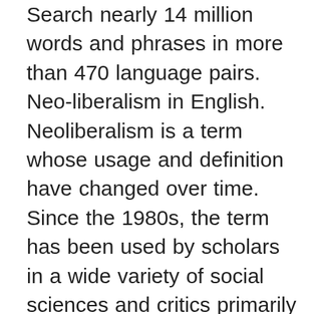Search nearly 14 million words and phrases in more than 470 language pairs. Neo-liberalism in English. Neoliberalism is a term whose usage and definition have changed over time. Since the 1980s, the term has been used by scholars in a wide variety of social sciences and critics primarily in reference to the resurgence of 19th century ideas associated with laissez-faire See also H. K. Girvetz, From Wealth to Welfare (1950); T. P. Neill, The Rise and Decline of Liberalism (1953); G. L. Cheery, Early English Liberalism (1962); K. R. Minogue, The Liberal Mind (1963); A. Arblaster, The Rise and Decline of Western Liberalism (1986); R. Eccleshall, British Liberalism (1986); N. P. Barry, On Classical Liberalism and Libertarianism (1987); J. Appleby, Liberalism and Translations in context of "liberalism" in English-German from Reverso Context: neo-